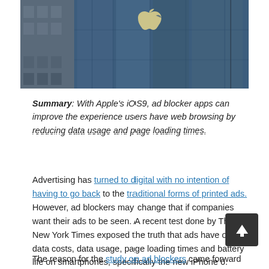[Figure (photo): Photo of an Apple store exterior with large Apple logo on glass facade and surrounding buildings visible in the background]
Summary: With Apple's iOS9, ad blocker apps can improve the experience users have web browsing by reducing data usage and page loading times.
Advertising has turned to digital with no intention of having to go back to the traditional forms of printed ads. However, ad blockers may change that if companies want their ads to be seen. A recent test done by The New York Times exposed the truth that ads have on data costs, data usage, page loading times and battery life on smartphones, specifically the new iPhone 6.
The reason for the study on ad blockers came forward